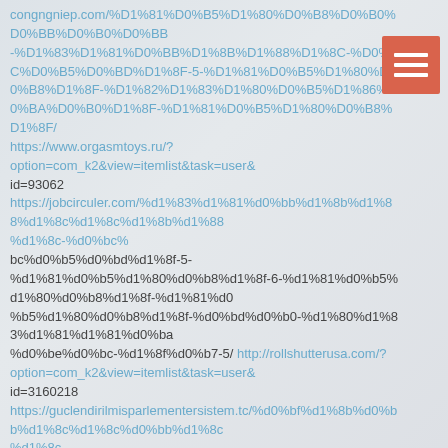congngniep.com/%D1%81%D0%B5%D1%80%D0%B8%D0%B0%D0%BB -%D1%83%D1%81%D0%BB%D1%8B%D1%88%D1%8C-%D0%BC%D0%B5%D0%BD%D1%8F-5-%D1%81%D0%B5%D1%80%D0%B8%D1%8F-%D1%82%D1%83%D1%80%D0%B5%D1%86%D0%BA%D0%B0%D1%8F-%D1%81%D0%B5%D1%80%D0%B8%D1%8F/ https://www.orgasmtoys.ru/?option=com_k2&view=itemlist&task=user& id=93062 https://jobcirculer.com/%d1%83%d1%81%d0%bb%d1%8b%d1%88%d1%8c-%d0%bc-%d1%8c-%d0%bc bc%d0%b5%d0%bd%d1%8f-5-%d1%81%d0%b5%d1%80%d0%b8%d1%8f-6-%d1%81%d0%b5%d1%80%d0%b8%d1%8f-%d0%bd%d0%b0-%d1%80%d1%83%d1%81%d1%81%d0%ba %d0%be%d0%bc-%d1%8f%d0%b7-5/ http://rollshutterusa.com/?option=com_k2&view=itemlist&task=user& id=3160218 https://guclendirilmisparlementersistem.tc/%d0%bf%d1%8b%d0%bb%d1%8c 8c%d0%bd%d1%8b%d0%b9-%d0%b2%d0%be%d1%80%d0%be%d1%82%d0%bd%d0%b8%d0%ba 0%ba-6-%d1%81%d0%b5%d1%80%d0%b8%d1%8f-%d1%82%d1%83%d1%80%d0%b5%d1%8c%86%d0%ba%d0%b8%d0%b9-%d1%81%d0%b5%d1%80%d0%b8-2/ https://www.orgasmtoys.ru/?option=com_k2&view=itemlist&task=user& id=92951 https://yclas.allincluded.ro/spanish/krasivee-tebia-9-serija-
[Figure (other): Hamburger menu button — salmon/coral colored square with three white horizontal bars]